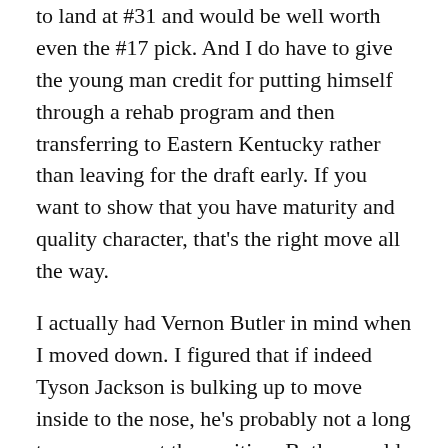to land at #31 and would be well worth even the #17 pick.  And I do have to give the young man credit for putting himself through a rehab program and then transferring to Eastern Kentucky rather than leaving for the draft early.  If you want to show that you have maturity and quality character, that's the right move all the way.
I actually had Vernon Butler in mind when I moved down.  I figured that if indeed Tyson Jackson is bulking up to move inside to the nose, he's probably not a long term answer at the position.  Butler would have been sweet if he had been available.  But he wasn't, so Spence was the choice.
Joshua Perry, LB, Ohio State
We all wanted Keanu Neal.  But this is the nightmare